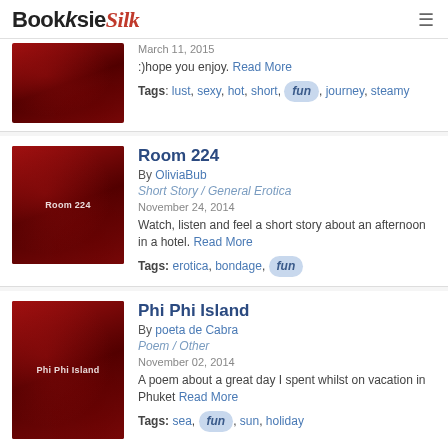BooksieSilk
March 11, 2015
:)hope you enjoy. Read More
Tags: lust, sexy, hot, short, fun, journey, steamy
Room 224
By OliviaBub
Short Story / General Erotica
November 24, 2014
Watch, listen and feel a short story about an afternoon in a hotel. Read More
Tags: erotica, bondage, fun
Phi Phi Island
By poeta de Cabra
Poem / Other
November 02, 2014
A poem about a great day I spent whilst on vacation in Phuket Read More
Tags: sea, fun, sun, holiday